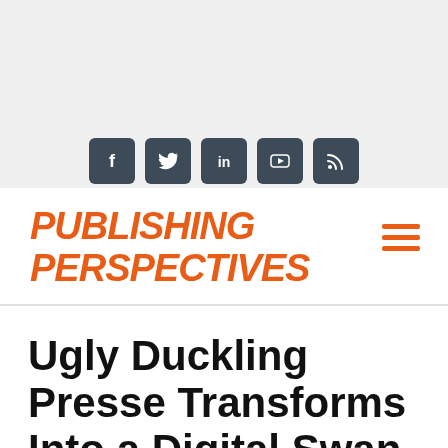[Figure (logo): Publishing Perspectives logo in bold italic orange uppercase text]
Ugly Duckling Presse Transforms Into a Digital Swan